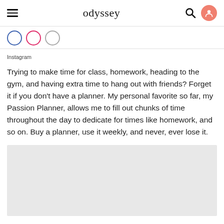odyssey
Instagram
Trying to make time for class, homework, heading to the gym, and having extra time to hang out with friends? Forget it if you don't have a planner. My personal favorite so far, my Passion Planner, allows me to fill out chunks of time throughout the day to dedicate for times like homework, and so on. Buy a planner, use it weekly, and never, ever lose it.
[Figure (photo): Light grey image placeholder area below article text]